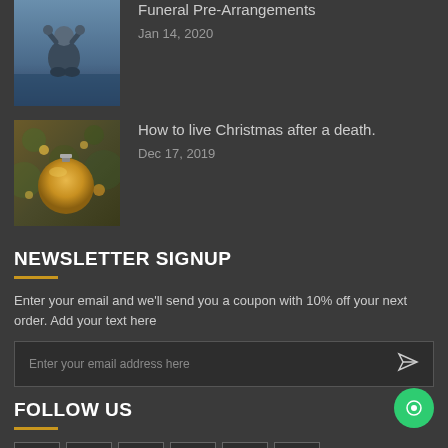[Figure (photo): Man sitting with head in hands near water]
Funeral Pre-Arrangements
Jan 14, 2020
[Figure (photo): Christmas ornaments on a tree]
How to live Christmas after a death.
Dec 17, 2019
NEWSLETTER SIGNUP
Enter your email and we'll send you a coupon with 10% off your next order. Add your text here
Enter your email address here
FOLLOW US